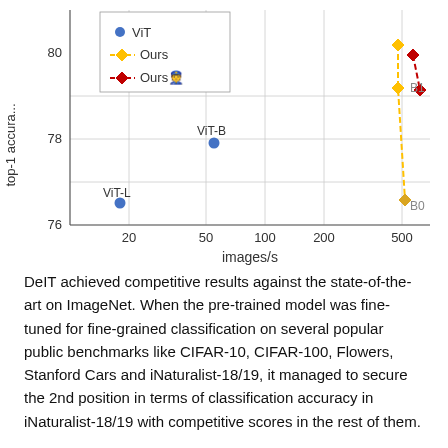[Figure (scatter-plot): Scatter plot comparing top-1 accuracy (y-axis, 76-80) vs throughput in images/s (x-axis, log scale ~10-700) for ViT (blue dots), Ours (pink/orange diamonds dashed), and Ours with distillation (red diamonds dashed). Points labeled: ViT-L (~18 img/s, ~76.5), ViT-B (~55 img/s, ~77.9), B1 (~480 img/s, ~79.2), and B0 (~520 img/s, ~76.6). Ours series has points at ~80.2 and ~79.5 around 480-500 img/s.]
DeIT achieved competitive results against the state-of-the-art on ImageNet. When the pre-trained model was fine-tuned for fine-grained classification on several popular public benchmarks like CIFAR-10, CIFAR-100, Flowers, Stanford Cars and iNaturalist-18/19, it managed to secure the 2nd position in terms of classification accuracy in iNaturalist-18/19 with competitive scores in the rest of them.